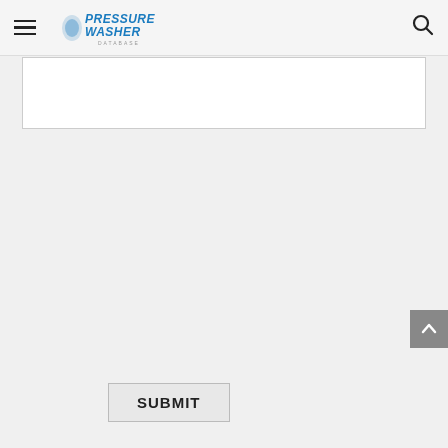Pressure Washer Database
[Figure (screenshot): Text input box (form field)]
SUBMIT
BUY THE STIHL RE 90
CHECK AVAILABILITY ON EBAY
RELATED PRODUCTS